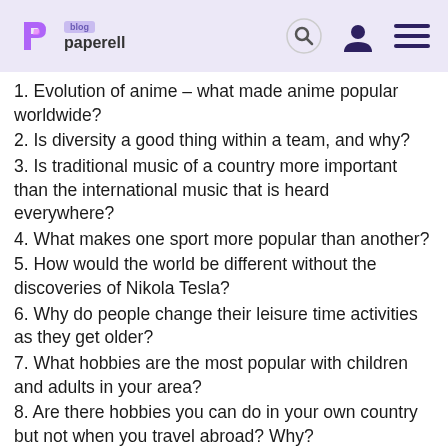paperell blog
1. Evolution of anime – what made anime popular worldwide?
2. Is diversity a good thing within a team, and why?
3. Is traditional music of a country more important than the international music that is heard everywhere?
4. What makes one sport more popular than another?
5. How would the world be different without the discoveries of Nikola Tesla?
6. Why do people change their leisure time activities as they get older?
7. What hobbies are the most popular with children and adults in your area?
8. Are there hobbies you can do in your own country but not when you travel abroad? Why?
9. How to deal with procrastination?